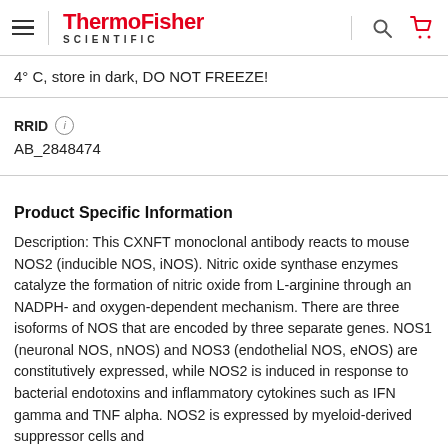ThermoFisher SCIENTIFIC
4° C, store in dark, DO NOT FREEZE!
RRID
AB_2848474
Product Specific Information
Description: This CXNFT monoclonal antibody reacts to mouse NOS2 (inducible NOS, iNOS). Nitric oxide synthase enzymes catalyze the formation of nitric oxide from L-arginine through an NADPH- and oxygen-dependent mechanism. There are three isoforms of NOS that are encoded by three separate genes. NOS1 (neuronal NOS, nNOS) and NOS3 (endothelial NOS, eNOS) are constitutively expressed, while NOS2 is induced in response to bacterial endotoxins and inflammatory cytokines such as IFN gamma and TNF alpha. NOS2 is expressed by myeloid-derived suppressor cells and